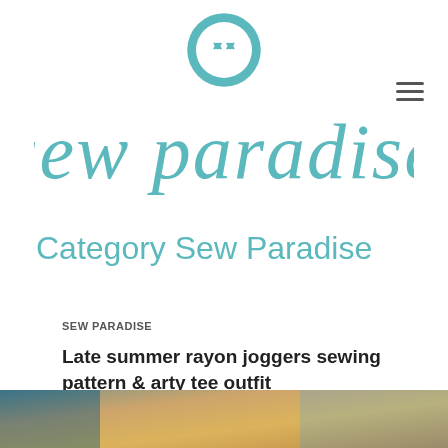[Figure (logo): Sew Paradise logo: teal button icon above cursive 'sew paradise' script text in teal color]
Category Sew Paradise
SEW PARADISE
Late summer rayon joggers sewing pattern & arty tee outfit
[Figure (photo): Partial photo strip at bottom of page showing a person wearing an outfit, cropped]